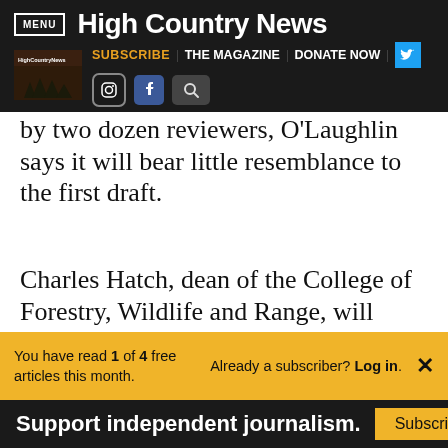MENU | High Country News
SUBSCRIBE | THE MAGAZINE | DONATE NOW
by two dozen reviewers, O'Laughlin says it will bear little resemblance to the first draft.
Charles Hatch, dean of the College of Forestry, Wildlife and Range, will have
You have read 1 of 4 free articles this month. Already a subscriber? Log in.
Support independent journalism. Subscribe